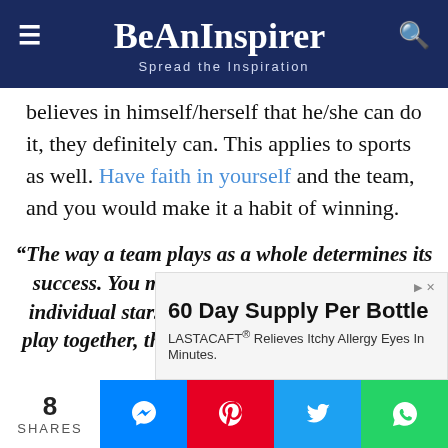BeAnInspirer — Spread the Inspiration
believes in himself/herself that he/she can do it, they definitely can. This applies to sports as well. Have faith in yourself and the team, and you would make it a habit of winning.
“The way a team plays as a whole determines its success. You may have the greatest bunch of individual stars in the world, but if they don’t play together, the club won’t be worth a dime.” — Babe Ruth
Readers!!! Do let us know in the comments if you’ve
[Figure (screenshot): Advertisement banner: 60 Day Supply Per Bottle — LASTACAFT® Relieves Itchy Allergy Eyes In Minutes.]
8 SHARES — Social share buttons: Messenger, Pinterest, Twitter, WhatsApp